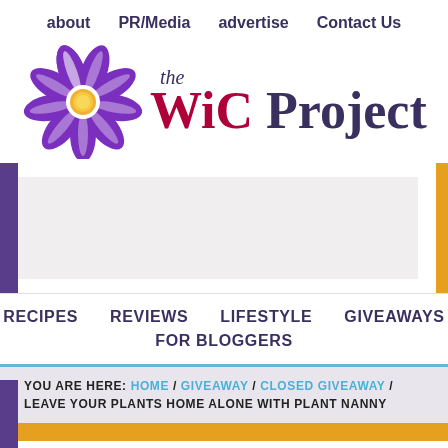about  PR/Media  advertise  Contact Us
[Figure (logo): The WiC Project logo: purple flower with yellow center and text 'the WiC Project' where WiC is in dark red and Project is in dark purple]
RECIPES  REVIEWS  LIFESTYLE  GIVEAWAYS  FOR BLOGGERS
YOU ARE HERE: HOME / GIVEAWAY / CLOSED GIVEAWAY / LEAVE YOUR PLANTS HOME ALONE WITH PLANT NANNY